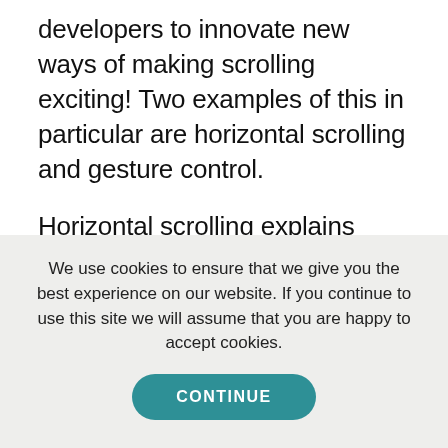developers to innovate new ways of making scrolling exciting! Two examples of this in particular are horizontal scrolling and gesture control.
Horizontal scrolling explains itself – websites scroll to the side as you move your mouse wheel, which breaks the ever-
We use cookies to ensure that we give you the best experience on our website. If you continue to use this site we will assume that you are happy to accept cookies.